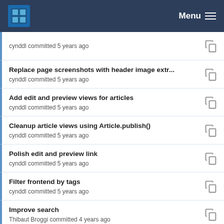Menu
cynddl committed 5 years ago
Replace page screenshots with header image extr...
cynddl committed 5 years ago
Add edit and preview views for articles
cynddl committed 5 years ago
Cleanup article views using Article.publish()
cynddl committed 5 years ago
Polish edit and preview link
cynddl committed 5 years ago
Filter frontend by tags
cynddl committed 5 years ago
Improve search
Thibaut Broggi committed 4 years ago
Add edit and preview views for articles
cynddl committed 5 years ago